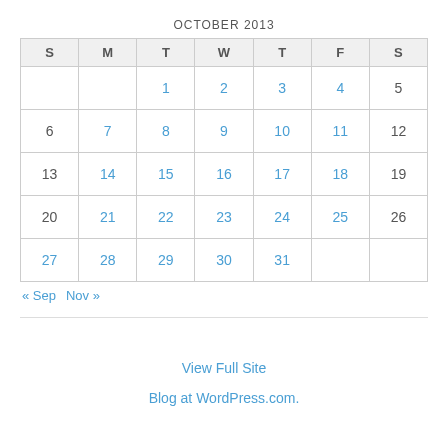OCTOBER 2013
| S | M | T | W | T | F | S |
| --- | --- | --- | --- | --- | --- | --- |
|  |  | 1 | 2 | 3 | 4 | 5 |
| 6 | 7 | 8 | 9 | 10 | 11 | 12 |
| 13 | 14 | 15 | 16 | 17 | 18 | 19 |
| 20 | 21 | 22 | 23 | 24 | 25 | 26 |
| 27 | 28 | 29 | 30 | 31 |  |  |
« Sep   Nov »
View Full Site
Blog at WordPress.com.